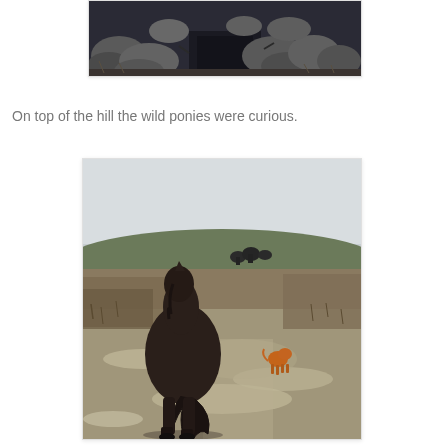[Figure (photo): Partial top view of a stone wall or stone structure, showing large rocks and dry vegetation, taken outdoors in low light.]
On top of the hill the wild ponies were curious.
[Figure (photo): A dark brown wild pony seen from behind on a frost-covered hillside moorland. In the distance, an orange/ginger dog and other ponies are visible on the hilly terrain under an overcast sky.]